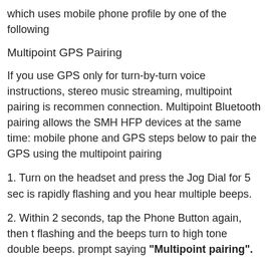which uses mobile phone profile by one of the following
Multipoint GPS Pairing
If you use GPS only for turn-by-turn voice instructions, stereo music streaming, multipoint pairing is recommended connection. Multipoint Bluetooth pairing allows the SMH HFP devices at the same time: mobile phone and GPS steps below to pair the GPS using the multipoint pairing
1. Turn on the headset and press the Jog Dial for 5 sec is rapidly flashing and you hear multiple beeps.
2. Within 2 seconds, tap the Phone Button again, then flashing and the beeps turn to high tone double beeps. prompt saying "Multipoint pairing".